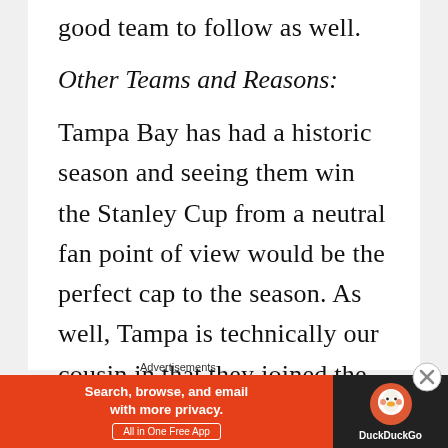good team to follow as well.
Other Teams and Reasons:
Tampa Bay has had a historic season and seeing them win the Stanley Cup from a neutral fan point of view would be the perfect cap to the season. As well, Tampa is technically our cousin in that they joined the league in the same year as us. Pretty interesting to see the path the two franchises have taken.
Advertisements
[Figure (other): DuckDuckGo advertisement banner: orange background on left with text 'Search, browse, and email with more privacy. All in One Free App', dark background on right with DuckDuckGo duck logo and 'DuckDuckGo' text]